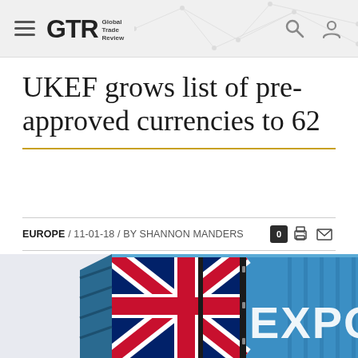GTR Global Trade Review
UKEF grows list of pre-approved currencies to 62
EUROPE / 11-01-18 / BY SHANNON MANDERS
[Figure (photo): Blue shipping container decorated with UK Union Jack flag on its door panels, with EXPORT text visible on the side. The container is rendered as a 3D illustration.]